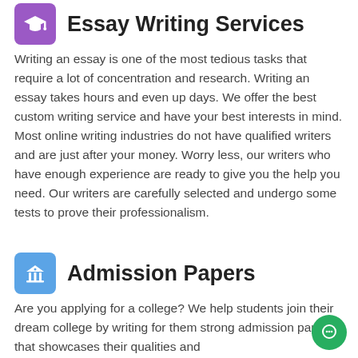Essay Writing Services
Writing an essay is one of the most tedious tasks that require a lot of concentration and research. Writing an essay takes hours and even up days. We offer the best custom writing service and have your best interests in mind. Most online writing industries do not have qualified writers and are just after your money. Worry less, our writers who have enough experience are ready to give you the help you need. Our writers are carefully selected and undergo some tests to prove their professionalism.
Admission Papers
Are you applying for a college? We help students join their dream college by writing for them strong admission papers that showcases their qualities and